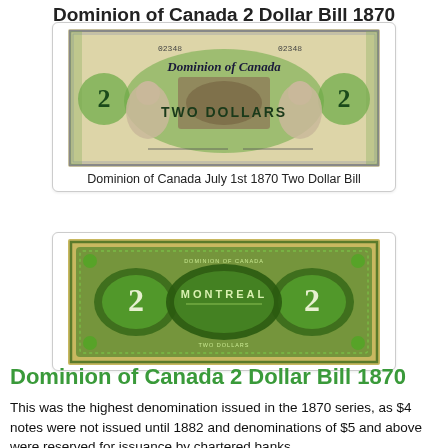Dominion of Canada 2 Dollar Bill 1870
[Figure (photo): Front face of the Dominion of Canada July 1st 1870 Two Dollar Bill, serial number 02348, showing the numeral 2 on both sides, portraits of a woman and a man, central vignette of a reclining figure, and 'TWO DOLLARS' text in green overprint]
Dominion of Canada July 1st 1870 Two Dollar Bill
[Figure (photo): Back side of the Dominion of Canada 1870 Two Dollar Bill, green design with large numeral 2 on each side and 'MONTREAL' text in the center oval]
Dominion of Canada 2 Dollar Bill 1870
This was the highest denomination issued in the 1870 series, as $4 notes were not issued until 1882 and denominations of $5 and above were reserved for issuance by chartered banks.